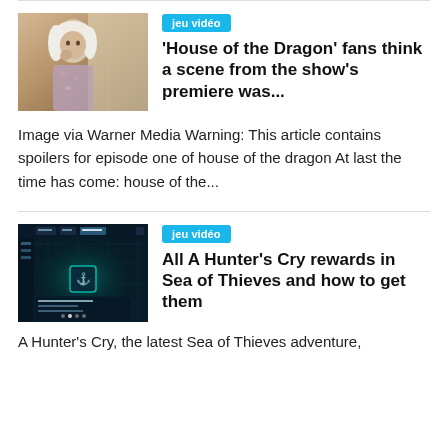[Figure (photo): Photo of a white-haired woman holding something near her face, warm indoor light]
jeu vidéo
'House of the Dragon' fans think a scene from the show's premiere was...
Image via Warner Media Warning: This article contains spoilers for episode one of house of the dragon At last the time has come: house of the...
[Figure (screenshot): Screenshot of a game UI, dark teal/green environment with menu interface showing Sea of Thieves]
jeu vidéo
All A Hunter's Cry rewards in Sea of Thieves and how to get them
A Hunter's Cry, the latest Sea of Thieves adventure,